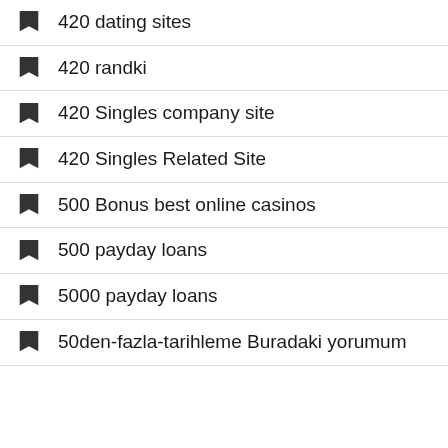420 dating sites
420 randki
420 Singles company site
420 Singles Related Site
500 Bonus best online casinos
500 payday loans
5000 payday loans
50den-fazla-tarihleme Buradaki yorumum